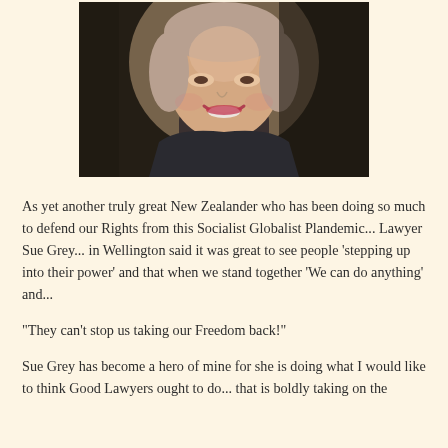[Figure (photo): Portrait photo of a woman (Sue Grey) smiling, wearing a dark top, with bookshelves in the background.]
As yet another truly great New Zealander who has been doing so much to defend our Rights from this Socialist Globalist Plandemic... Lawyer Sue Grey... in Wellington said it was great to see people ‘stepping up into their power’ and that when we stand together ‘We can do anything’ and...
“They can’t stop us taking our Freedom back!”
Sue Grey has become a hero of mine for she is doing what I would like to think Good Lawyers ought to do... that is boldly taking on the